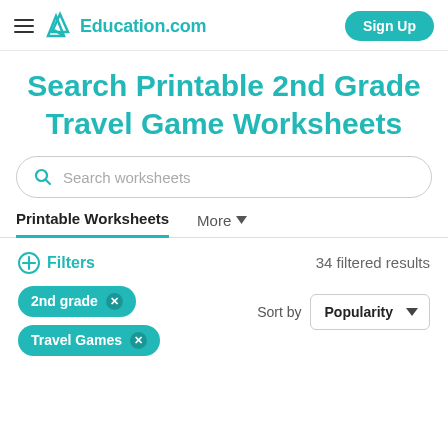Education.com  Sign Up
Search Printable 2nd Grade Travel Game Worksheets
Search worksheets
Printable Worksheets   More
Filters   34 filtered results
2nd grade ✕
Travel Games ✕
Sort by  Popularity